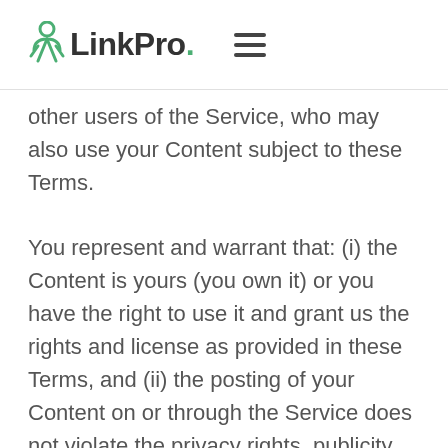LinkPro.
other users of the Service, who may also use your Content subject to these Terms.
You represent and warrant that: (i) the Content is yours (you own it) or you have the right to use it and grant us the rights and license as provided in these Terms, and (ii) the posting of your Content on or through the Service does not violate the privacy rights, publicity rights, copyrights, contract rights or any other rights of any person.